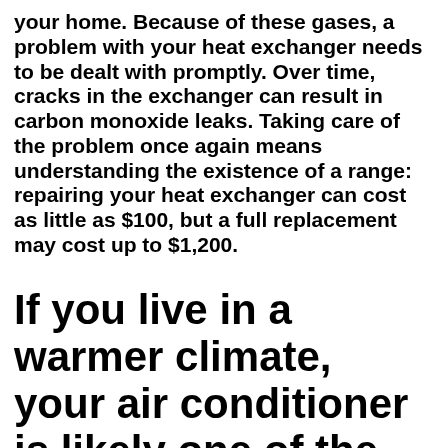your home. Because of these gases, a problem with your heat exchanger needs to be dealt with promptly. Over time, cracks in the exchanger can result in carbon monoxide leaks. Taking care of the problem once again means understanding the existence of a range: repairing your heat exchanger can cost as little as $100, but a full replacement may cost up to $1,200.
If you live in a warmer climate, your air conditioner is likely one of the most essential pieces of equipment for your home.